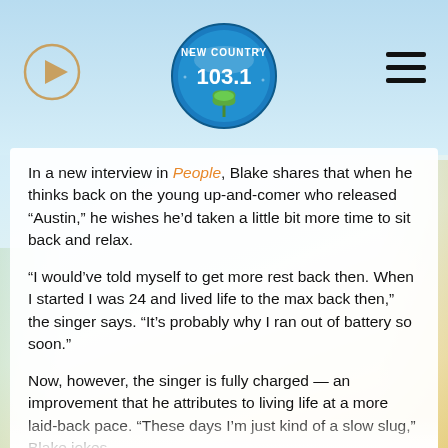New Country 103.1 — website header with play button, logo, and hamburger menu
In a new interview in People, Blake shares that when he thinks back on the young up-and-comer who released “Austin,” he wishes he’d taken a little bit more time to sit back and relax.
“I would’ve told myself to get more rest back then. When I started I was 24 and lived life to the max back then,” the singer says. “It’s probably why I ran out of battery so soon.”
Now, however, the singer is fully charged — an improvement that he attributes to living life at a more laid-back pace. “These days I’m just kind of a slow slug,” Blake jokes.
Still, he continues to push himself to learn and grow with every release. The title track of Body Language